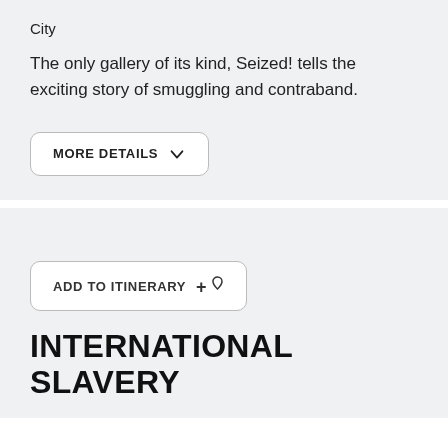City
The only gallery of its kind, Seized! tells the exciting story of smuggling and contraband.
MORE DETAILS
ADD TO ITINERARY
INTERNATIONAL SLAVERY